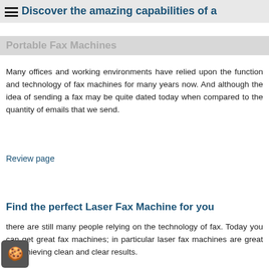Discover the amazing capabilities of a
Portable Fax Machines
Many offices and working environments have relied upon the function and technology of fax machines for many years now. And although the idea of sending a fax may be quite dated today when compared to the quantity of emails that we send.
Review page
Find the perfect Laser Fax Machine for you
there are still many people relying on the technology of fax. Today you can get great fax machines; in particular laser fax machines are great for achieving clean and clear results.